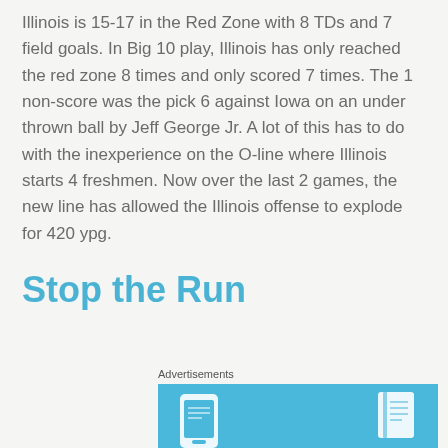Illinois is 15-17 in the Red Zone with 8 TDs and 7 field goals. In Big 10 play, Illinois has only reached the red zone 8 times and only scored 7 times. The 1 non-score was the pick 6 against Iowa on an under thrown ball by Jeff George Jr. A lot of this has to do with the inexperience on the O-line where Illinois starts 4 freshmen. Now over the last 2 games, the new line has allowed the Illinois offense to explode for 420 ypg.
Stop the Run
Advertisements
[Figure (other): Advertisement banner with light blue background showing a smartphone and a book icon]